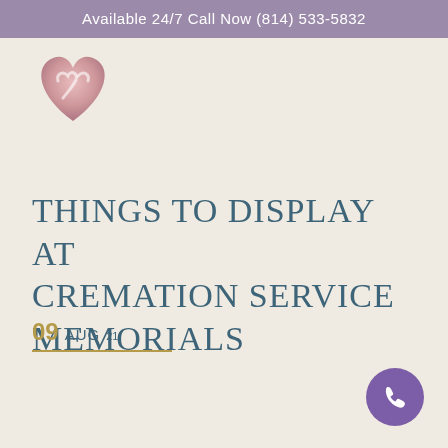Available 24/7 Call Now (814) 533-5832
[Figure (logo): Heart-shaped logo with hands, pink and mauve tones]
THINGS TO DISPLAY AT CREMATION SERVICE MEMORIALS
09 AUG 21
[Figure (illustration): Purple circular phone/call button icon in bottom right corner]